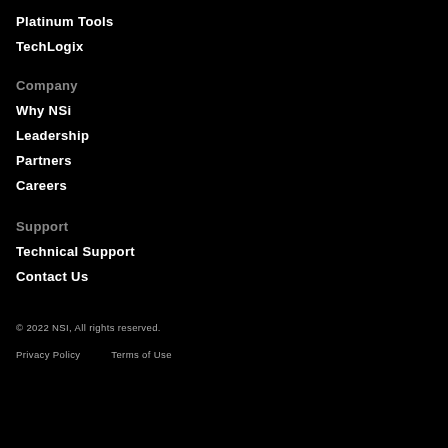Platinum Tools
TechLogix
Company
Why NSi
Leadership
Partners
Careers
Support
Technical Support
Contact Us
© 2022 NSI, All rights reserved.
Privacy Policy    Terms of Use